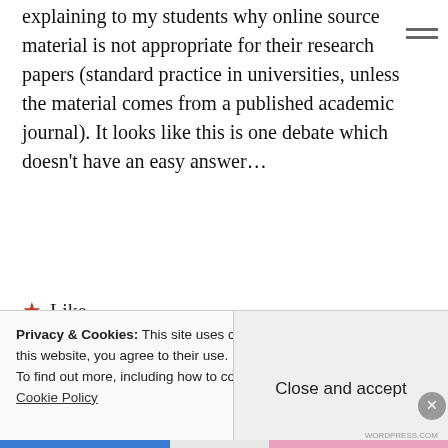explaining to my students why online source material is not appropriate for their research papers (standard practice in universities, unless the material comes from a published academic journal). It looks like this is one debate which doesn't have an easy answer...
★ Like
Reply
[Figure (logo): Circular logo with stylized C letter in dark green on white background]
Privacy & Cookies: This site uses cookies. By continuing to use this website, you agree to their use. To find out more, including how to control cookies, see here: Cookie Policy
Close and accept